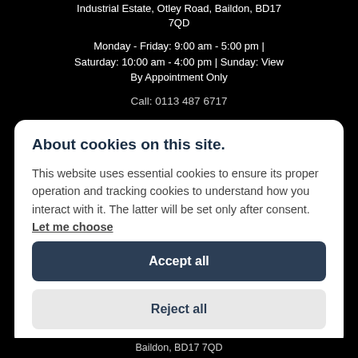Industrial Estate, Otley Road, Baildon, BD17 7QD
Monday - Friday: 9:00 am - 5:00 pm | Saturday: 10:00 am - 4:00 pm | Sunday: View By Appointment Only
Call: 0113 487 6717
About cookies on this site.
This website uses essential cookies to ensure its proper operation and tracking cookies to understand how you interact with it. The latter will be set only after consent. Let me choose
Accept all
Reject all
Baildon, BD17 7QD